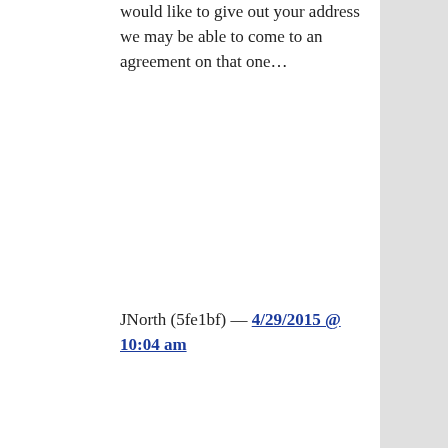would like to give out your address we may be able to come to an agreement on that one…
JNorth (5fe1bf) — 4/29/2015 @ 10:04 am
39. JNorth@38 – If you don't mind, let's assume that the rioters/protesters think that they have a legitimate grievance against the police. Would